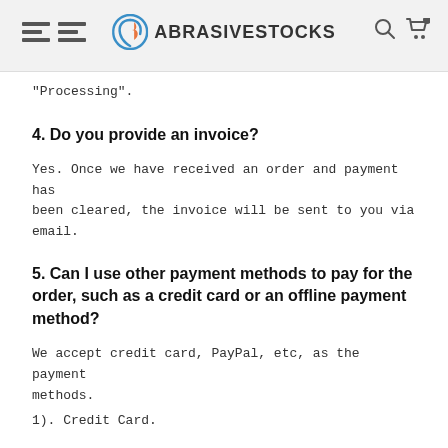ABRASIVESTOCKS
"Processing".
4. Do you provide an invoice?
Yes. Once we have received an order and payment has been cleared, the invoice will be sent to you via email.
5. Can I use other payment methods to pay for the order, such as a credit card or an offline payment method?
We accept credit card, PayPal, etc, as the payment methods.
1). Credit Card.